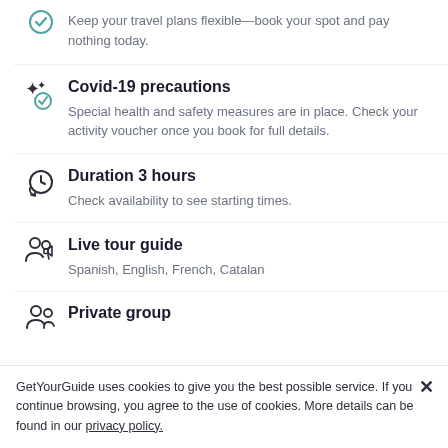Keep your travel plans flexible—book your spot and pay nothing today.
Covid-19 precautions
Special health and safety measures are in place. Check your activity voucher once you book for full details.
Duration 3 hours
Check availability to see starting times.
Live tour guide
Spanish, English, French, Catalan
Private group
GetYourGuide uses cookies to give you the best possible service. If you continue browsing, you agree to the use of cookies. More details can be found in our privacy policy.